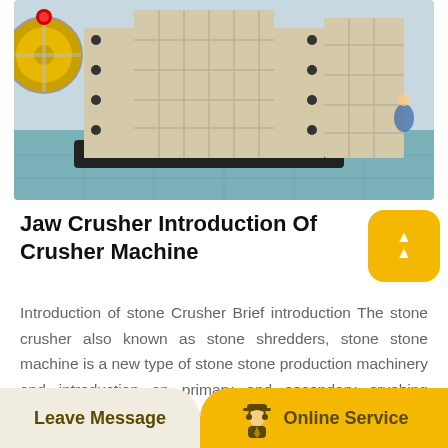[Figure (photo): Large industrial jaw crusher machine with cream/white colored metal frame, heavy bolts, and rectangular openings, displayed on a factory floor with blue-green tiled floor. Another similar machine visible in background. Yellow flywheel visible on left side.]
Jaw Crusher Introduction Of Crusher Machine
Introduction of stone Crusher Brief introduction The stone crusher also known as stone shredders, stone stone machine is a new type of stone stone production machinery and introduction on primary and secondary crushing and.Introduction A can crusher can be defined as "A device used for
Leave Message   Online Service